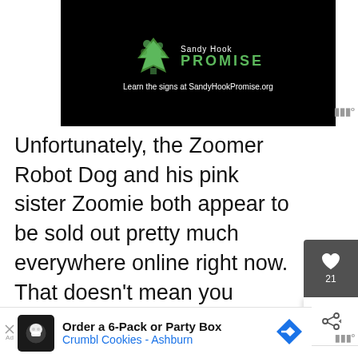[Figure (screenshot): Sandy Hook Promise advertisement — black background with green tree logo, 'Sandy Hook PROMISE' text in green, and tagline 'Learn the signs at SandyHookPromise.org' in white.]
Unfortunately, the Zoomer Robot Dog and his pink sister Zoomie both appear to be sold out pretty much everywhere online right now. That doesn't mean you should give up hope if you desperately want th[em] under someone's tree. I have two ti[ps]
[Figure (screenshot): Crumbl Cookies Ashburn advertisement banner: 'Order a 6-Pack or Party Box' with Crumbl Cookies logo and blue navigation arrow icon.]